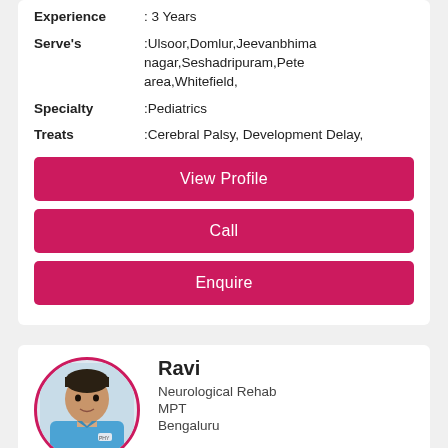Experience : 3 Years
Serve's :Ulsoor,Domlur,Jeevanbhima nagar,Seshadripuram,Pete area,Whitefield,
Specialty :Pediatrics
Treats :Cerebral Palsy, Development Delay,
View Profile
Call
Enquire
[Figure (photo): Circular profile photo of doctor Ravi wearing blue shirt, with pink/red circular border]
Ravi
Neurological Rehab
MPT
Bengaluru
★★★★★
Experience : 6 Years
Serve's :Ulsoor,Domlur,Jeevanbhima